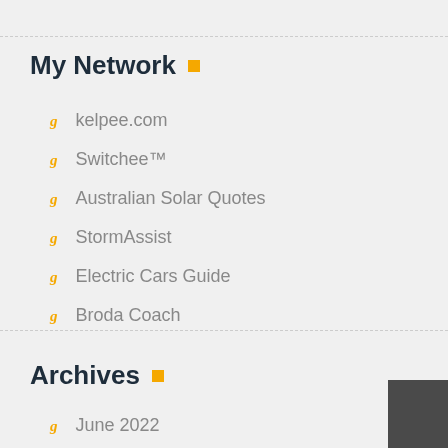My Network
kelpee.com
Switchee™
Australian Solar Quotes
StormAssist
Electric Cars Guide
Broda Coach
Archives
June 2022